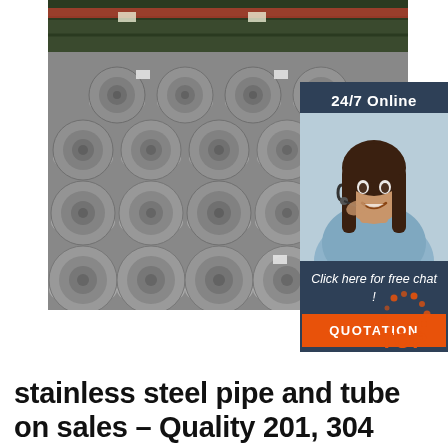[Figure (photo): Industrial warehouse with large coils of stainless steel wire rod stacked in rows]
[Figure (infographic): Dark blue sidebar box with '24/7 Online' text, a female customer service agent with headset, 'Click here for free chat!' text, and an orange QUOTATION button]
[Figure (logo): TOP logo with orange dot pattern and orange text reading TOP]
stainless steel pipe and tube on sales – Quality 201, 304